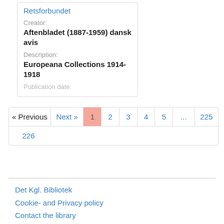Retsforbundet
Creator:
Aftenbladet (1887-1959) dansk avis
Description:
Europeana Collections 1914-1918
Publication date:
« Previous
Next »
1
2
3
4
5
...
225
226
Det Kgl. Bibliotek
Cookie- and Privacy policy
Contact the library